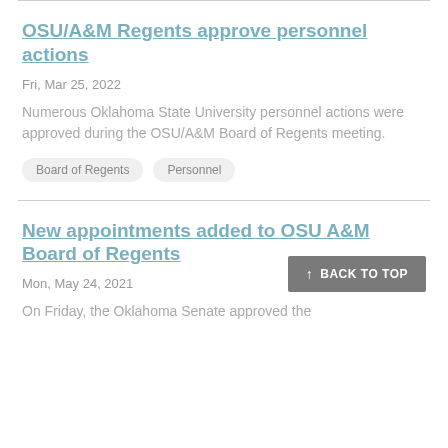OSU/A&M Regents approve personnel actions
Fri, Mar 25, 2022
Numerous Oklahoma State University personnel actions were approved during the OSU/A&M Board of Regents meeting.
Board of Regents
Personnel
New appointments added to OSU A&M Board of Regents
Mon, May 24, 2021
On Friday, the Oklahoma Senate approved the